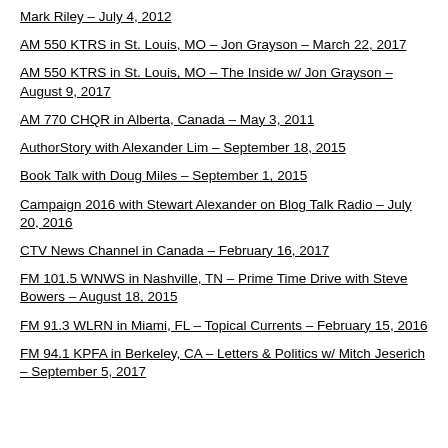Mark Riley – July 4, 2012
AM 550 KTRS in St. Louis, MO – Jon Grayson – March 22, 2017
AM 550 KTRS in St. Louis, MO – The Inside w/ Jon Grayson – August 9, 2017
AM 770 CHQR in Alberta, Canada – May 3, 2011
AuthorStory with Alexander Lim – September 18, 2015
Book Talk with Doug Miles – September 1, 2015
Campaign 2016 with Stewart Alexander on Blog Talk Radio – July 20, 2016
CTV News Channel in Canada – February 16, 2017
FM 101.5 WNWS in Nashville, TN – Prime Time Drive with Steve Bowers – August 18, 2015
FM 91.3 WLRN in Miami, FL – Topical Currents – February 15, 2016
FM 94.1 KPFA in Berkeley, CA – Letters & Politics w/ Mitch Jeserich – September 5, 2017